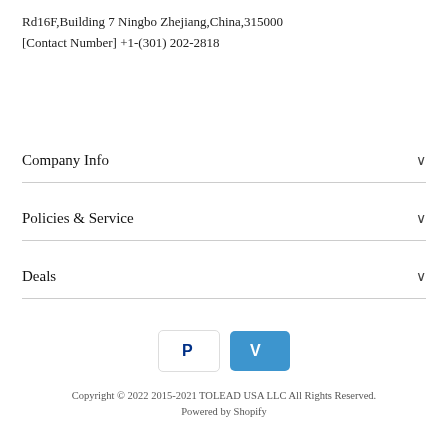Rd16F,Building 7 Ningbo Zhejiang,China,315000
[Contact Number] +1-(301) 202-2818
Company Info
Policies & Service
Deals
[Figure (logo): PayPal and Venmo payment icons]
Copyright © 2022 2015-2021 TOLEAD USA LLC All Rights Reserved.
Powered by Shopify